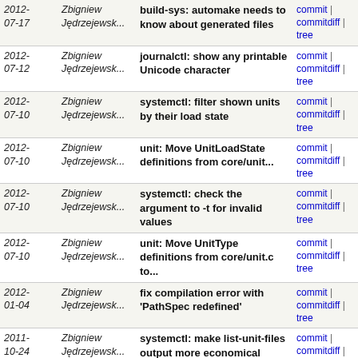| Date | Author | Message | Links |
| --- | --- | --- | --- |
| 2012-07-17 | Zbigniew Jędrzejewsk... | build-sys: automake needs to know about generated files | commit | commitdiff | tree |
| 2012-07-12 | Zbigniew Jędrzejewsk... | journalctl: show any printable Unicode character | commit | commitdiff | tree |
| 2012-07-10 | Zbigniew Jędrzejewsk... | systemctl: filter shown units by their load state | commit | commitdiff | tree |
| 2012-07-10 | Zbigniew Jędrzejewsk... | unit: Move UnitLoadState definitions from core/unit... | commit | commitdiff | tree |
| 2012-07-10 | Zbigniew Jędrzejewsk... | systemctl: check the argument to -t for invalid values | commit | commitdiff | tree |
| 2012-07-10 | Zbigniew Jędrzejewsk... | unit: Move UnitType definitions from core/unit.c to... | commit | commitdiff | tree |
| 2012-01-04 | Zbigniew Jędrzejewsk... | fix compilation error with 'PathSpec redefined' | commit | commitdiff | tree |
| 2011-10-24 | Zbigniew Jędrzejewsk... | systemctl: make list-unit-files output more economical | commit | commitdiff | tree |
| 2011-10-11 | Zbigniew Jędrzejewsk... | localed: shorten generate-kbd-model-map | commit | commitdiff | tree |
| 2011-10-11 | Zbigniew Jędrzejewsk... | pager: add _noreturn_ to pager_fallback() | commit | commitdiff | tree |
| 2011-10-11 | Zbigniew Jędrzejewsk... | l10n: Reword the polish translation a bit | commit | commitdiff | tree |
| 2011-09-19 | Zbigniew Jędrzejewsk... | systemadm: use colors for id too, remove color from... | commit | commitdiff | tree |
| 2011-09-19 | Zbigniew Jędrzejewsk... | systemadm: adjust row numbers after removing 'aliases' | commit | commitdiff | tree |
| 2011-... | Zbigniew Jędrzejewsk... | systemadm: coalesse id and... | commit | commitdiff | tree |